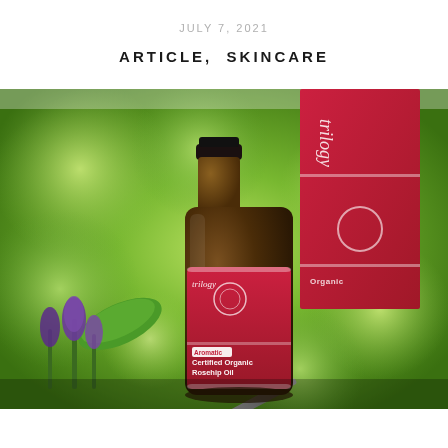JULY 7, 2021
ARTICLE,  SKINCARE
[Figure (photo): Product photo showing a Trilogy Aromatic Certified Organic Rosehip Oil amber dropper bottle with red label, alongside its red product box packaging, set against a blurred green bokeh background with lavender flowers and a green leaf in the foreground.]